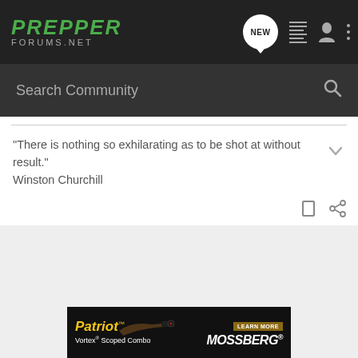PREPPER FORUMS.NET
Search Community
"There is nothing so exhilarating as to be shot at without result." Winston Churchill
[Figure (screenshot): Mossberg Patriot Vortex Scoped Combo advertisement banner with a rifle image and LEARN MORE button]